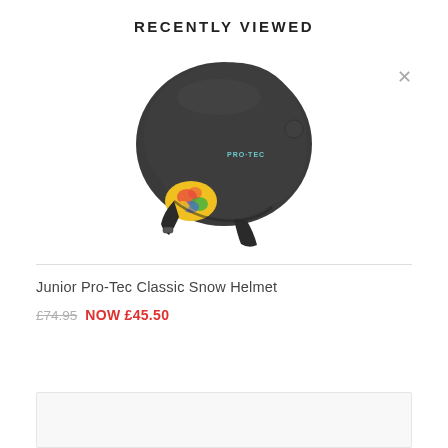RECENTLY VIEWED
[Figure (photo): Dark grey Pro-Tec Classic Snow Helmet with colorful tie-dye ear pads, shown at a slight angle. The helmet is matte black/dark grey with the PRO-TEC logo on the side.]
Junior Pro-Tec Classic Snow Helmet
£74.95 NOW £45.50